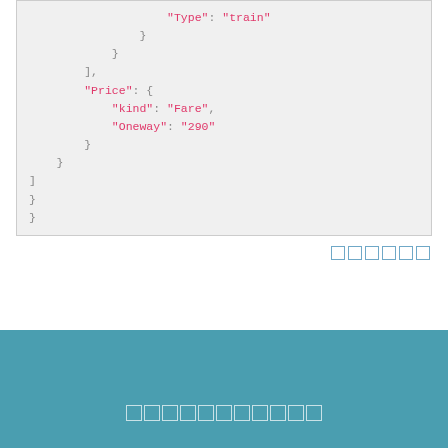"Type": "train"
}
}
],
"Price": {
"kind": "Fare",
"Oneway": "290"
}
}
]
}
}
}
□□□□□□
□□□□□□□□□□□